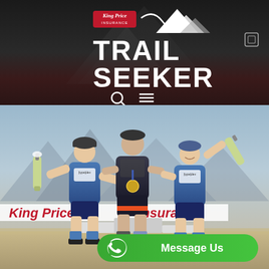[Figure (logo): King Price Insurance Trail Seeker logo with mountain graphic on dark background with search and menu icons]
[Figure (photo): Three cyclists standing on a podium at the King Price Insurance Trail Seeker event, two in blue team kits holding champagne bottles, center cyclist wearing a medal. A green WhatsApp Message Us button overlays the bottom right.]